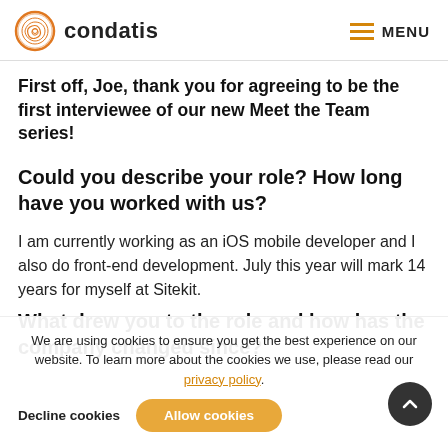condatis | MENU
First off, Joe, thank you for agreeing to be the first interviewee of our new Meet the Team series!
Could you describe your role? How long have you worked with us?
I am currently working as an iOS mobile developer and I also do front-end development. July this year will mark 14 years for myself at Sitekit.
What drew you to the role and how has the company changed since?
We are using cookies to ensure you get the best experience on our website. To learn more about the cookies we use, please read our privacy policy.
Decline cookies   Allow cookies